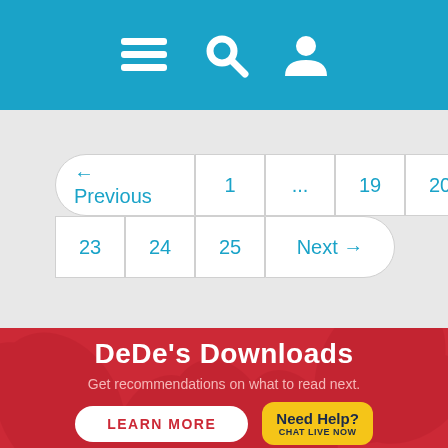[Figure (screenshot): Navigation header bar with hamburger menu, search, and user account icons on teal/blue background]
[Figure (screenshot): Pagination control showing Previous, 1, ..., 19, 20, 21, 22 (active/highlighted in dark blue), 23, 24, 25, Next buttons on gray background]
[Figure (screenshot): Red footer banner with decorative leaf background, DeDe's Downloads title, subtitle text, LEARN MORE button, and Need Help chat button]